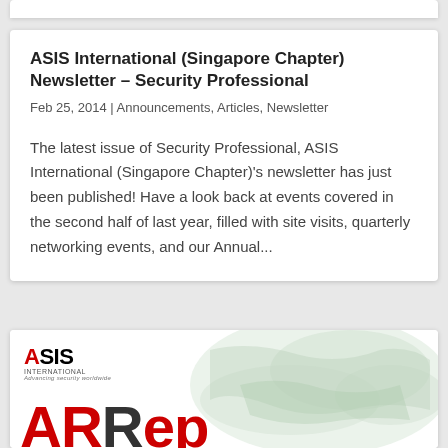ASIS International (Singapore Chapter) Newsletter – Security Professional
Feb 25, 2014 | Announcements, Articles, Newsletter
The latest issue of Security Professional, ASIS International (Singapore Chapter)'s newsletter has just been published! Have a look back at events covered in the second half of last year, filled with site visits, quarterly networking events, and our Annual...
[Figure (logo): ASIS International logo with a world map background and large red letters partially visible at the bottom]